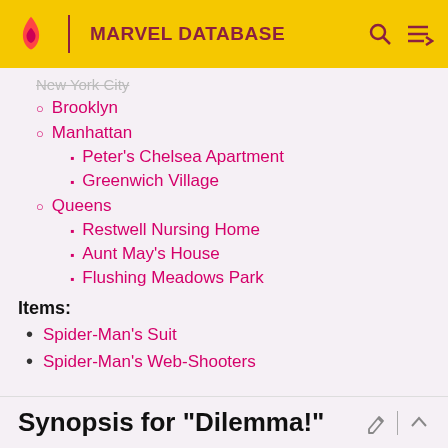MARVEL DATABASE
New York City (truncated/crossed out)
Brooklyn
Manhattan
Peter's Chelsea Apartment
Greenwich Village
Queens
Restwell Nursing Home
Aunt May's House
Flushing Meadows Park
Items:
Spider-Man's Suit
Spider-Man's Web-Shooters
Synopsis for "Dilemma!"